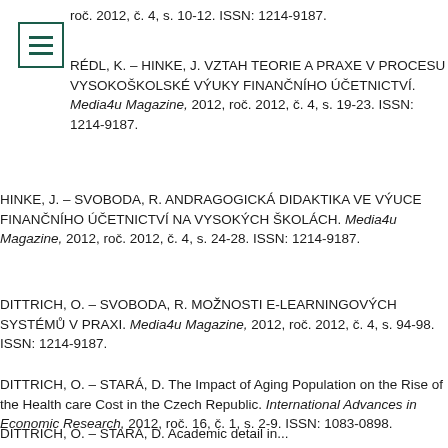roč. 2012, č. 4, s. 10-12. ISSN: 1214-9187.
[Figure (other): Menu/hamburger icon — three horizontal lines in a square border, dark green color]
RÉDL, K. – HINKE, J. VZTAH TEORIE A PRAXE V PROCESU VYSOKOŠKOLSKÉ VÝUKY FINANČNÍHO ÚČETNICTVÍ. Media4u Magazine, 2012, roč. 2012, č. 4, s. 19-23. ISSN: 1214-9187.
HINKE, J. – SVOBODA, R. ANDRAGOGICKÁ DIDAKTIKA VE VÝUCE FINANČNÍHO ÚČETNICTVÍ NA VYSOKÝCH ŠKOLÁCH. Media4u Magazine, 2012, roč. 2012, č. 4, s. 24-28. ISSN: 1214-9187.
DITTRICH, O. – SVOBODA, R. MOŽNOSTI E-LEARNINGOVÝCH SYSTÉMŮ V PRAXI. Media4u Magazine, 2012, roč. 2012, č. 4, s. 94-98. ISSN: 1214-9187.
DITTRICH, O. – STARÁ, D. The Impact of Aging Population on the Rise of the Health care Cost in the Czech Republic. International Advances in Economic Research, 2012, roč. 16, č. 1, s. 2-9. ISSN: 1083-0898.
DITTRICH, O. – STARÁ, D. Academic detail in...